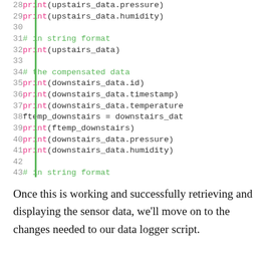[Figure (screenshot): Python code snippet showing lines 28-46 with print statements for upstairs_data and downstairs_data sensor attributes, a commented section for string format output, and time.sleep(15). A green vertical bar separates line numbers from code. Keywords 'print' are in pink/magenta, comments in green, numbers in blue.]
Once this is working and successfully retrieving and displaying the sensor data, we'll move on to the changes needed to our data logger script.